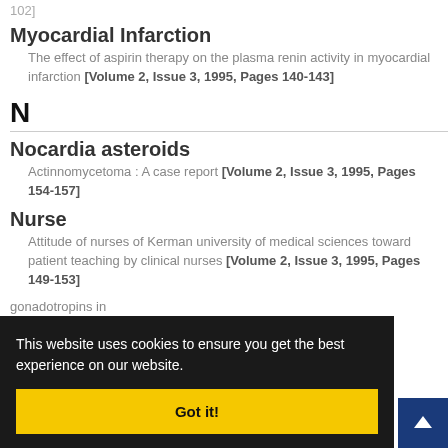102]
Myocardial Infarction
The effect of aspirin therapy on the plasma renin activity in myocardial infarction [Volume 2, Issue 3, 1995, Pages 140-143]
N
Nocardia asteroids
Actinnomycetoma : A case report [Volume 2, Issue 3, 1995, Pages 154-157]
Nurse
Attitude of nurses of Kerman university of medical sciences toward patient teaching by clinical nurses [Volume 2, Issue 3, 1995, Pages 149-153]
gonadotropins in 0]
This website uses cookies to ensure you get the best experience on our website.
Got it!